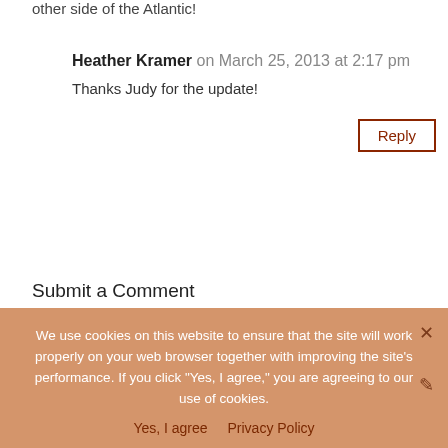other side of the Atlantic!
Heather Kramer on March 25, 2013 at 2:17 pm
Thanks Judy for the update!
Reply
Submit a Comment
Your email address will not be published. Required fields are marked *
Comment
We use cookies on this website to ensure that the site will work properly on your web browser together with improving the site's performance. If you click "Yes, I agree," you are agreeing to our use of cookies.
Yes, I agree   Privacy Policy